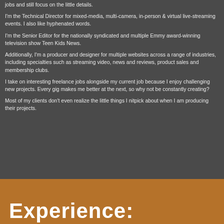jobs and still focus on the little details.
I'm the Technical Director for mixed-media, multi-camera, in-person & virtual live-streaming events. I also like hyphenated words.
I'm the Senior Editor for the nationally syndicated and multiple Emmy award-winning television show Teen Kids News.
Additionally, I'm a producer and designer for multiple websites across a range of industries, including specialties such as streaming video, news and reviews, product sales and membership clubs.
I take on interesting freelance jobs alongside my current job because I enjoy challenging new projects. Every gig makes me better at the next, so why not be constantly creating?
Most of my clients don't even realize the little things I nitpick about when I am producing their projects.
Experience: